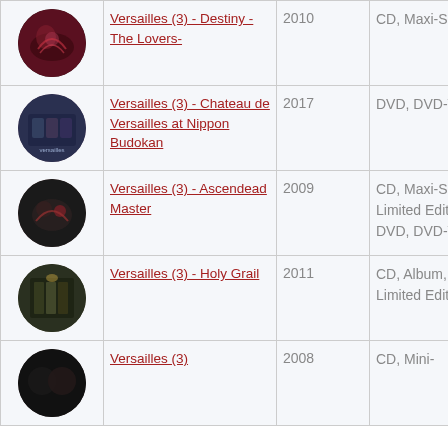| Image | Title | Year | Format |
| --- | --- | --- | --- |
| [album art] | Versailles (3) - Destiny - The Lovers- | 2010 | CD, Maxi-Single |
| [album art] | Versailles (3) - Chateau de Versailles at Nippon Budokan | 2017 | DVD, DVD-Video |
| [album art] | Versailles (3) - Ascendead Master | 2009 | CD, Maxi-Single, Limited Edition, DVD, DVD-Video |
| [album art] | Versailles (3) - Holy Grail | 2011 | CD, Album, DVD, Limited Edition |
| [album art] | Versailles (3) | 2008 | CD, Mini- |